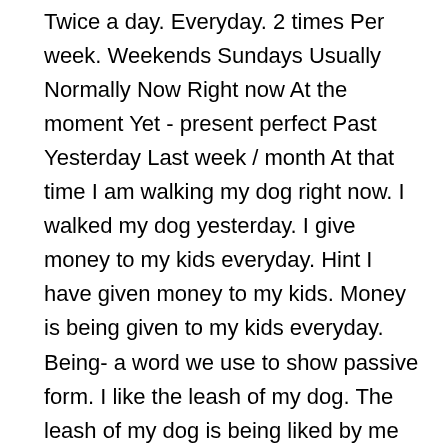fans. Most japanese people start to work at around 16 y/o y/o = years old Shortcut Kids Adults Year-book Classmates What's it called? Rural Past simple Present simple Present progressive Habits Time expressions Twice a day. Everyday. 2 times Per week. Weekends Sundays Usually Normally Now Right now At the moment Yet - present perfect Past Yesterday Last week / month At that time I am walking my dog right now. I walked my dog yesterday. I give money to my kids everyday. Hint I have given money to my kids. Money is being given to my kids everyday. Being- a word we use to show passive form. I like the leash of my dog. The leash of my dog is being liked by me Specific Jumbled words I love you Love you i Mixed-up-jumbled Future If the subject is not important and action is still going on- we use being. I grew up, I became an adult I was born and grew up in Chiba